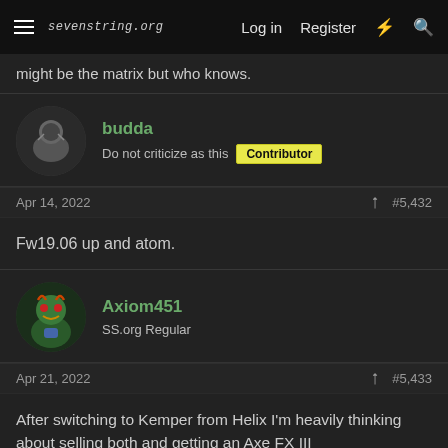sevenstring.org — Log in  Register
might be the matrix but who knows.
budda
Do not criticize as this  Contributor
Apr 14, 2022  #5,432
Fw19.06 up and atom.
Axiom451
SS.org Regular
Apr 21, 2022  #5,433
After switching to Kemper from Helix I'm heavily thinking about selling both and getting an Axe FX III